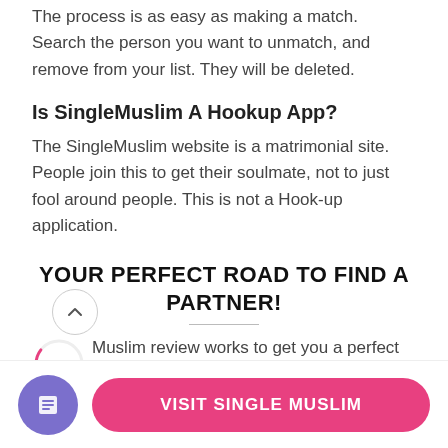The process is as easy as making a match. Search the person you want to unmatch, and remove from your list. They will be deleted.
Is SingleMuslim A Hookup App?
The SingleMuslim website is a matrimonial site. People join this to get their soulmate, not to just fool around people. This is not a Hook-up application.
YOUR PERFECT ROAD TO FIND A PARTNER!
85% Muslim review works to get you a perfect soulmate to cherish, love, and care. If you have set
VISIT SINGLE MUSLIM